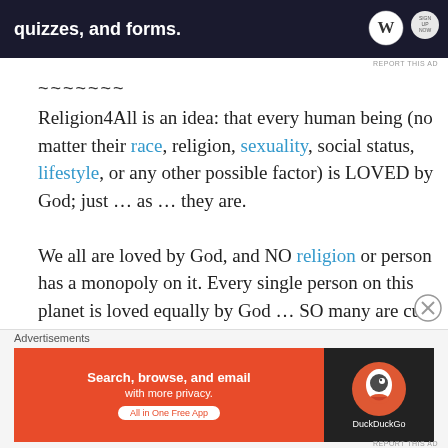[Figure (other): Top advertisement banner with WordPress logo and text about quizzes and forms on dark background]
REPORT THIS AD
~~~~~~~
Religion4All is an idea: that every human being (no matter their race, religion, sexuality, social status, lifestyle, or any other possible factor) is LOVED by God; just … as … they are.

We all are loved by God, and NO religion or person has a monopoly on it. Every single person on this planet is loved equally by God … SO many are cut off from God because they are told they don't belong. God loves everyone … we ALL are beautiful creations … we don't need to cringe
Advertisements
[Figure (other): DuckDuckGo advertisement: Search, browse, and email with more privacy. All in One Free App. Orange background with DuckDuckGo logo on dark background.]
REPORT THIS AD